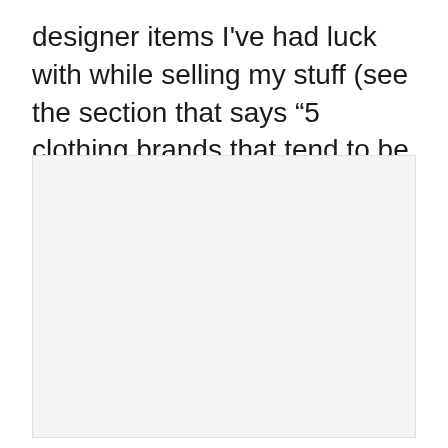designer items I've had luck with while selling my stuff (see the section that says “5 clothing brands that tend to be high in demand”).
[Figure (other): Large light gray placeholder image box]